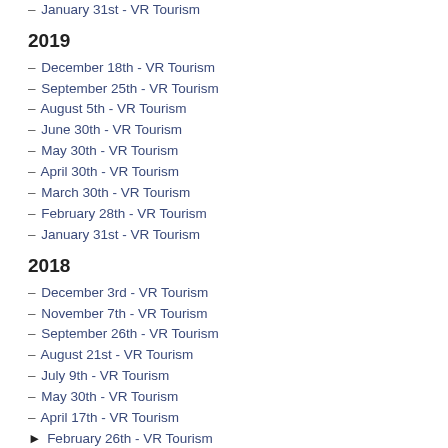January 31st - VR Tourism
2019
December 18th - VR Tourism
September 25th - VR Tourism
August 5th - VR Tourism
June 30th - VR Tourism
May 30th - VR Tourism
April 30th - VR Tourism
March 30th - VR Tourism
February 28th - VR Tourism
January 31st - VR Tourism
2018
December 3rd - VR Tourism
November 7th - VR Tourism
September 26th - VR Tourism
August 21st - VR Tourism
July 9th - VR Tourism
May 30th - VR Tourism
April 17th - VR Tourism
February 26th - VR Tourism
January 23rd - VR Tourism
2017